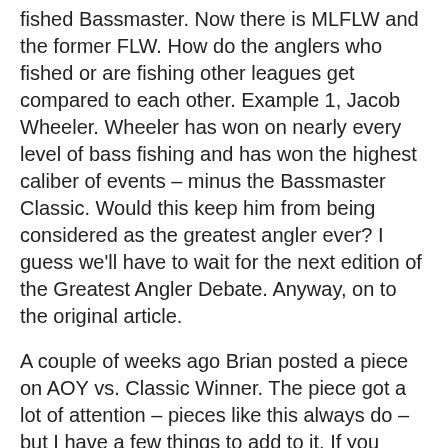fished Bassmaster.  Now there is MLFLW and the former FLW.  How do the anglers who fished or are fishing other leagues get compared to each other.  Example 1, Jacob Wheeler.  Wheeler has won on nearly every level of bass fishing and has won the highest caliber of events – minus the Bassmaster Classic.  Would this keep him from being considered as the greatest angler ever?  I guess we'll have to wait for the next edition of the Greatest Angler Debate.  Anyway, on to the original article.
A couple of weeks ago Brian posted a piece on AOY vs. Classic Winner. The piece got a lot of attention – pieces like this always do – but I have a few things to add to it. If you have that issue of BASS Master Magazine (Feb 1980), you'll see that they devoted five full pages to this debate – or debacle – if you want to call it that. It was a big deal and this article started the debate amongst anglers and the media that eventually led to the Greatest Angler debate